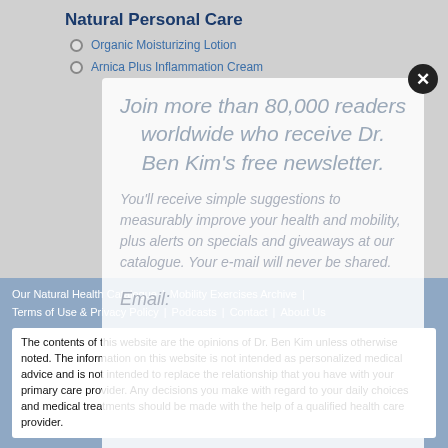Natural Personal Care
Organic Moisturizing Lotion
Arnica Plus Inflammation Cream
Join more than 80,000 readers worldwide who receive Dr. Ben Kim's free newsletter.
You'll receive simple suggestions to measurably improve your health and mobility, plus alerts on specials and giveaways at our catalogue.  Your e-mail will never be shared.
Email:
Our Natural Health Catalogue | Mobility Exercises Archive | Terms of Use & Privacy Policy | Podcasts | Contact | About Us
The contents of this website are the opinions of Dr. Ben Kim unless otherwise noted. The information on this website is not intended as personalized medical advice and is not intended to replace the relationship that you have with your primary care provider. Any decisions you make with regard to your daily choices and medical treatments should be made with the help of a qualified health care provider.